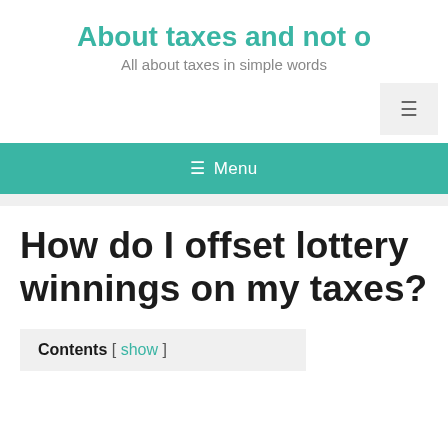About taxes and not o
All about taxes in simple words
≡ Menu
How do I offset lottery winnings on my taxes?
Contents [ show ]